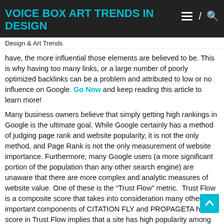VOICE BOX ART TRENDS IN DESIGN
Design & Art Trends
have, the more influential those elements are believed to be. This is why having too many links, or a large number of poorly optimized backlinks can be a problem and attributed to low or no influence on Google. Go Now and keep reading this article to learn more!
Many business owners believe that simply getting high rankings in Google is the ultimate goal. While Google certainly has a method of judging page rank and website popularity, it is not the only method, and Page Rank is not the only measurement of website importance. Furthermore, many Google users (a more significant portion of the population than any other search engine) are unaware that there are more complex and analytic measures of website value. One of these is the “Trust Flow” metric. Trust Flow is a composite score that takes into consideration many other important components of CITATION FLY and PROPAGETA high score in Trust Flow implies that a site has high popularity among Google users and that it receives a lot of positive attention from